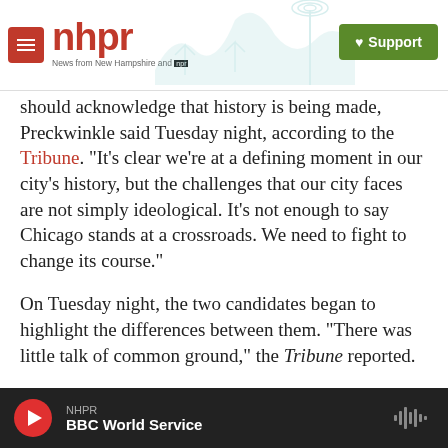nhpr — News from New Hampshire and NPR | Support
should acknowledge that history is being made, Preckwinkle said Tuesday night, according to the Tribune. "It's clear we're at a defining moment in our city's history, but the challenges that our city faces are not simply ideological. It's not enough to say Chicago stands at a crossroads. We need to fight to change its course."
On Tuesday night, the two candidates began to highlight the differences between them. "There was little talk of common ground," the Tribune reported.
Preckwinkle said that while her opponent "was
NHPR — BBC World Service